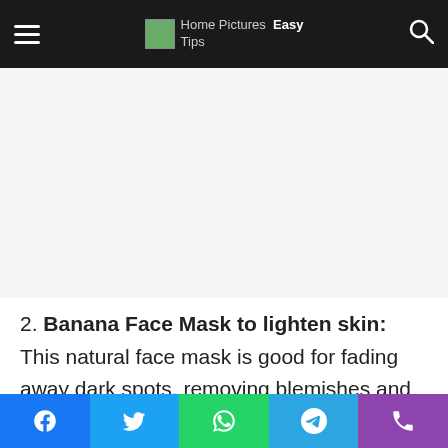Home Pictures Easy Tips
[Figure (other): Advertisement banner area (white/blank space)]
2. Banana Face Mask to lighten skin: This natural face mask is good for fading away dark spots, removing blemishes and brightening dull skin. This is made up of following three powerful ingredients to hydrate, lighten and brighten your skin. Method: Take a ripe banana and mash it with a spoon or a fork in a bowl till it forms a smooth paste, then...
Facebook Twitter WhatsApp Telegram Phone